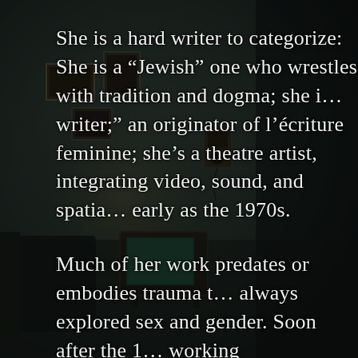[Figure (photo): Dark interior room with vintage items: framed pictures on wall, old rotary telephone mounted on wall, a retro television set, couch/chair, dimly lit with teal/dark tones]
She is a hard writer to categorize: She is a “Jewish” one who wrestles with tradition and dogma; she is a “feminine writer;” an originator of l’écriture feminine; she’s a theatre artist, integrating video, sound, and spatial art as early as the 1970s.
Much of her work predates or embodies trauma theory; she always explored sex and gender. Soon after the 1967 war, working collaboratively with Palestinian theatre a…
Born in 1932, she spent the years of the Second World War in hiding, sheltered by a gentile family. Survival guilt underlies much of her work; so too is memory. Her quest was to find a way to say the unsayable…to [find a way] to integrate w…